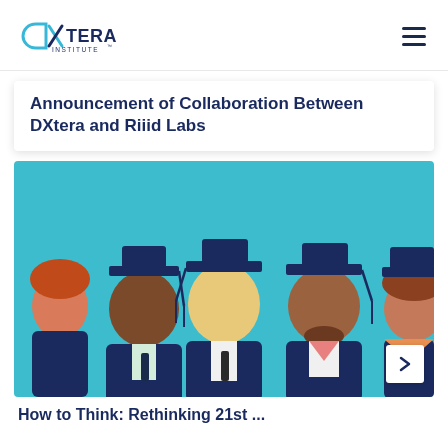DXtera Institute
Announcement of Collaboration Between DXtera and Riiid Labs
[Figure (illustration): Flat illustration of diverse graduates wearing dark navy graduation caps and gowns on a teal background. Five figures visible, showing diverse ethnicities and genders wearing academic regalia.]
How to Think: Rethinking 21st ...